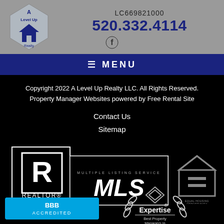[Figure (logo): A Level Up Realty LLC logo — diamond/star shape with house motif]
LC669821000  520.332.4114
☰ MENU
Copyright 2022 A Level Up Realty LLC. All Rights Reserved.
Property Manager Websites powered by Free Rental Site
Contact Us
Sitemap
[Figure (logo): REALTOR and MLS Multiple Listing Service logo badge]
[Figure (logo): Equal Housing Opportunity logo]
[Figure (logo): Expertise Best Property Managers badge]
[Figure (logo): BBB Accredited Business badge]